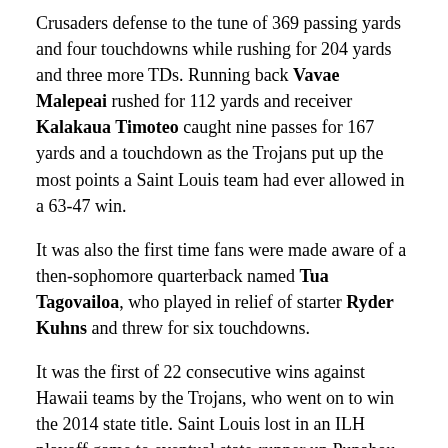Crusaders defense to the tune of 369 passing yards and four touchdowns while rushing for 204 yards and three more TDs. Running back Vavae Malepeai rushed for 112 yards and receiver Kalakaua Timoteo caught nine passes for 167 yards and a touchdown as the Trojans put up the most points a Saint Louis team had ever allowed in a 63-47 win.
It was also the first time fans were made aware of a then-sophomore quarterback named Tua Tagovailoa, who played in relief of starter Ryder Kuhns and threw for six touchdowns.
It was the first of 22 consecutive wins against Hawaii teams by the Trojans, who went on to win the 2014 state title. Saint Louis lost in an ILH playoff game to eventual state-runner up Punahou, but is now back in the state tournament for the first time since Marcus Mariota led the Crusaders to the 2010 title.
Friday night's second semifinal game in the First...